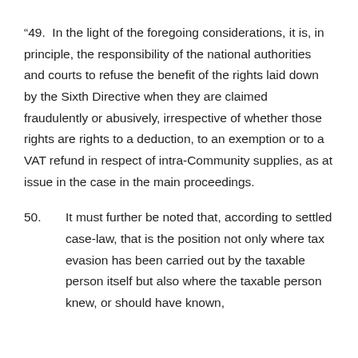“49. In the light of the foregoing considerations, it is, in principle, the responsibility of the national authorities and courts to refuse the benefit of the rights laid down by the Sixth Directive when they are claimed fraudulently or abusively, irrespective of whether those rights are rights to a deduction, to an exemption or to a VAT refund in respect of intra-Community supplies, as at issue in the case in the main proceedings.
50. It must further be noted that, according to settled case-law, that is the position not only where tax evasion has been carried out by the taxable person itself but also where the taxable person knew, or should have known,